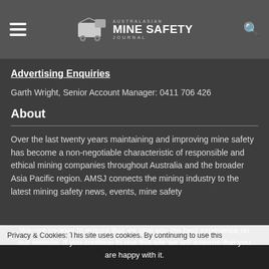Australasian Mine Safety Journal
Advertising Enquiries
Garth Wright, Senior Account Manager: 0411 706 426
About
Over the last twenty years maintaining and improving mine safety has become a non-negotiable characteristic of responsible and ethical mining companies throughout Australia and the broader Asia Pacific region. AMSJ connects the mining industry to the latest mining safety news, events, mine safety
Privacy & Cookies: This site uses cookies. By continuing to use this
We use cookies to ensure that we give you the best experience on our website. If you continue to use this site we will assume that you are happy with it.
Ok